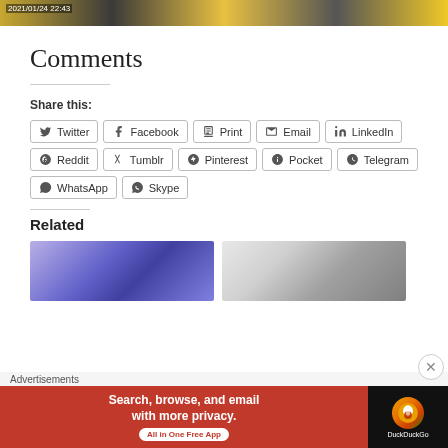[Figure (photo): Top cropped photo showing colorful scene with timestamp 2021/01/24 22:43]
Comments
Share this:
Twitter | Facebook | Print | Email | LinkedIn | Reddit | Tumblr | Pinterest | Pocket | Telegram | WhatsApp | Skype
Related
[Figure (photo): Related photo 1: indoor scene with blue lighting]
[Figure (photo): Related photo 2: indoor scene with people silhouetted]
Advertisements
[Figure (screenshot): DuckDuckGo advertisement: Search, browse, and email with more privacy. All in One Free App]